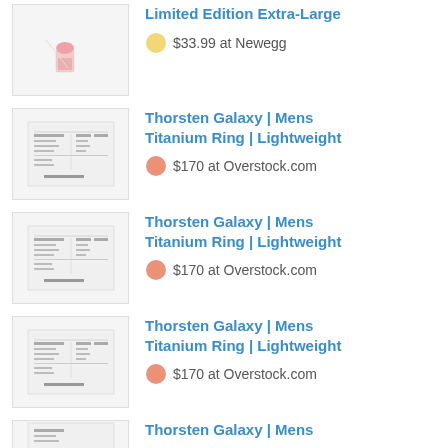[Figure (screenshot): Product thumbnail - pink lipstick-like item (Limited Edition Extra-Large)]
Limited Edition Extra-Large
$33.99 at Newegg
[Figure (screenshot): Product thumbnail - Thorsten Galaxy Mens Titanium Ring document/table image]
Thorsten Galaxy | Mens Titanium Ring | Lightweight
$170 at Overstock.com
[Figure (screenshot): Product thumbnail - Thorsten Galaxy Mens Titanium Ring document/table image]
Thorsten Galaxy | Mens Titanium Ring | Lightweight
$170 at Overstock.com
[Figure (screenshot): Product thumbnail - Thorsten Galaxy Mens Titanium Ring document/table image]
Thorsten Galaxy | Mens Titanium Ring | Lightweight
$170 at Overstock.com
[Figure (screenshot): Product thumbnail - Thorsten Galaxy Mens Titanium Ring (partial, bottom of page)]
Thorsten Galaxy | Mens